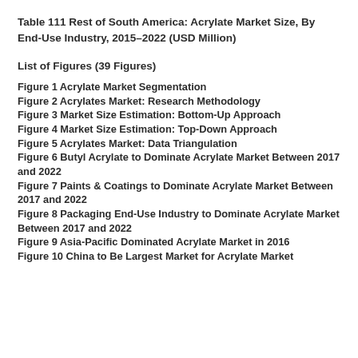Table 111 Rest of South America: Acrylate Market Size, By End-Use Industry, 2015–2022 (USD Million)
List of Figures (39 Figures)
Figure 1 Acrylate Market Segmentation
Figure 2 Acrylates Market: Research Methodology
Figure 3 Market Size Estimation: Bottom-Up Approach
Figure 4 Market Size Estimation: Top-Down Approach
Figure 5 Acrylates Market: Data Triangulation
Figure 6 Butyl Acrylate to Dominate Acrylate Market Between 2017 and 2022
Figure 7 Paints & Coatings to Dominate Acrylate Market Between 2017 and 2022
Figure 8 Packaging End-Use Industry to Dominate Acrylate Market Between 2017 and 2022
Figure 9 Asia-Pacific Dominated Acrylate Market in 2016
Figure 10 China to Be Largest Market for Acrylate Market